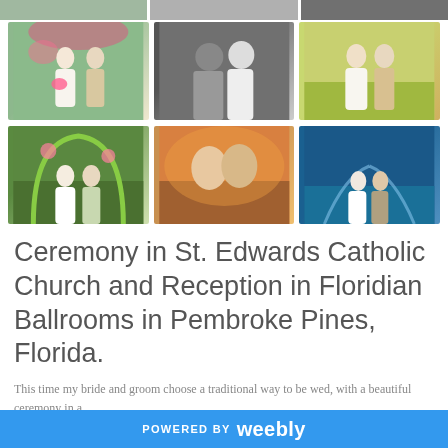[Figure (photo): Top strip of partially visible wedding photos]
[Figure (photo): Row of three wedding ceremony photos: bride with bouquet under floral arch, black and white portrait of bride and groom, couple outdoors in garden]
[Figure (photo): Row of three wedding reception photos: couple under floral arch, couple kissing at sunset, bride and groom standing near fountain at night]
Ceremony in St. Edwards Catholic Church and Reception in Floridian Ballrooms in Pembroke Pines, Florida.
This time my bride and groom choose a traditional way to be wed, with a beautiful ceremony in a
POWERED BY weebly